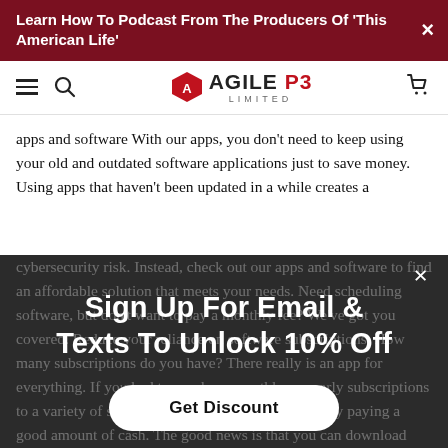Learn How To Podcast From The Producers Of 'This American Life'
[Figure (logo): Agile P3 Limited logo with navigation icons (hamburger menu, search, cart)]
apps and software With our apps, you don't need to keep using your old and outdated software applications just to save money. Using apps that haven't been updated in a while creates a cybersecurity risk. Instead, check out our apps and software to find an affordable solution that meets your needs. Need scheduling software, but don't want to pay a monthly fee? We've got you covered. Reduce your reliance on software subscriptions. How many subscriptions do you have? There really is an app for everything. If you had to purchase monthly or yearly subscriptions to a variety of software applications, you're probably paying a good amount of cash. The good news is that you can download lifetime applications from our shop that provide a lifetime of use. You may not be able to replace all of your subscription software with lifetime apps, but even replacing one application will save you money.
Sign Up For Email & Texts To Unlock 10% Off
Get Discount